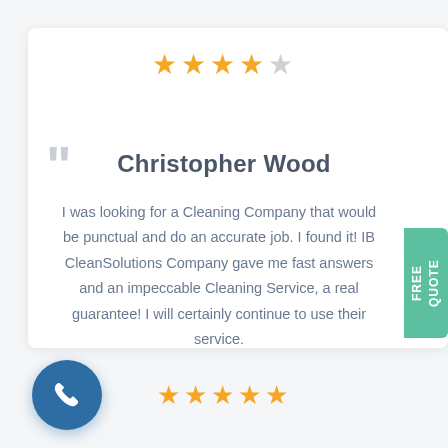[Figure (other): 5-star rating display at top with 4 filled gold stars and 1 empty/grey star]
Christopher Wood
I was looking for a Cleaning Company that would be punctual and do an accurate job. I found it! IB CleanSolutions Company gave me fast answers and an impeccable Cleaning Service, a real guarantee! I will certainly continue to use their service.
[Figure (other): 5 filled gold stars rating at bottom]
[Figure (other): Green FREE QUOTE tab on right side]
[Figure (other): Blue circular phone call button at bottom left]